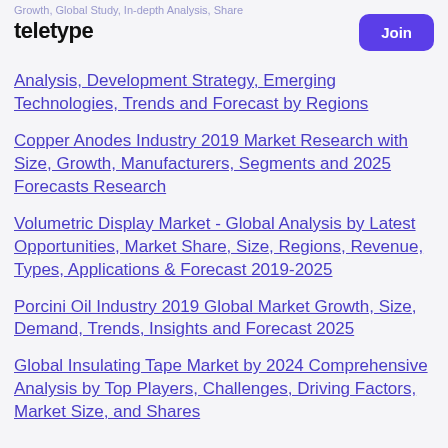Growth, Global Study, In-depth Analysis, Share
teletype | Join
Analysis, Development Strategy, Emerging Technologies, Trends and Forecast by Regions
Copper Anodes Industry 2019 Market Research with Size, Growth, Manufacturers, Segments and 2025 Forecasts Research
Volumetric Display Market - Global Analysis by Latest Opportunities, Market Share, Size, Regions, Revenue, Types, Applications & Forecast 2019-2025
Porcini Oil Industry 2019 Global Market Growth, Size, Demand, Trends, Insights and Forecast 2025
Global Insulating Tape Market by 2024 Comprehensive Analysis by Top Players, Challenges, Driving Factors, Market Size, and Shares